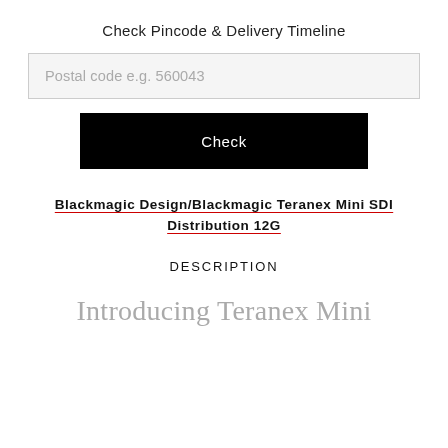Check Pincode & Delivery Timeline
Postal code e.g. 560043
Check
Blackmagic Design/Blackmagic Teranex Mini SDI Distribution 12G
DESCRIPTION
Introducing Teranex Mini